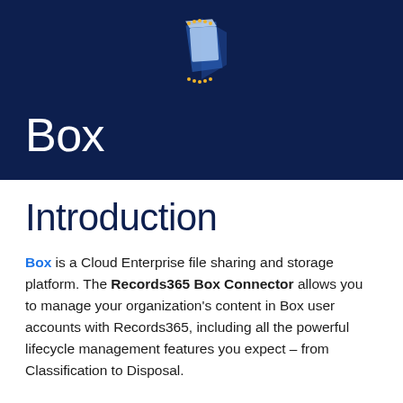[Figure (logo): Box product logo — layered cube icon in dark blue and light blue with gold dot accents, centered at top of dark navy header band]
Box
Introduction
Box is a Cloud Enterprise file sharing and storage platform. The Records365 Box Connector allows you to manage your organization's content in Box user accounts with Records365, including all the powerful lifecycle management features you expect – from Classification to Disposal.